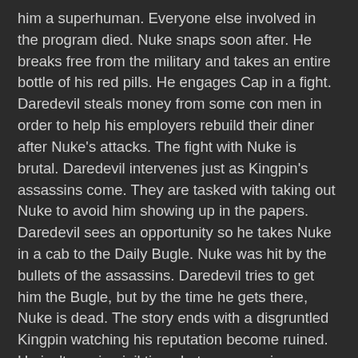him a superhuman. Everyone else involved in the program died. Nuke snaps soon after. He breaks free from the military and takes an entire bottle of his red pills. He engages Cap in a fight. Daredevil steals money from some con men in order to help his employers rebuild their diner after Nuke's attacks. The fight with Nuke is brutal. Daredevil intervenes just as Kingpin's assassins come. They are tasked with taking out Nuke to avoid him showing up in the papers. Daredevil sees an opportunity so he takes Nuke in a cab to the Daily Bugle. Nuke was hit by the bullets of the assassins. Daredevil tries to get him the Bugle, but by the time he gets there, Nuke is dead. The story ends with a disgruntled Kingpin watching his reputation become ruined. He isn't serving jail time, but everyone is aware of who he really is. After everything, he's proud of the fact he at least took Matt's law license away. Matt doesn't give a damn though. The last page shows him walking with Karen, happy as a kid. He says, "My name